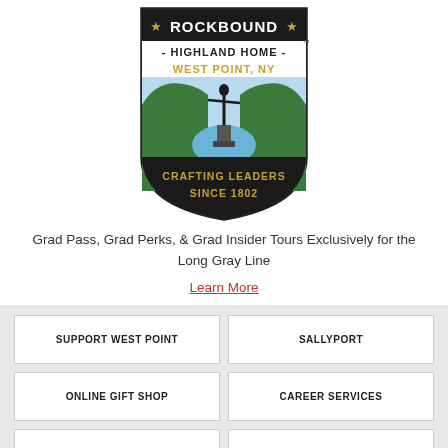[Figure (logo): Rockbound Highland Home West Point NY shield logo with 'Crafting Leaders Since 1802' text and scenic Hudson River valley illustration]
Grad Pass, Grad Perks, & Grad Insider Tours Exclusively for the Long Gray Line
Learn More
SUPPORT WEST POINT
SALLYPORT
ONLINE GIFT SHOP
CAREER SERVICES